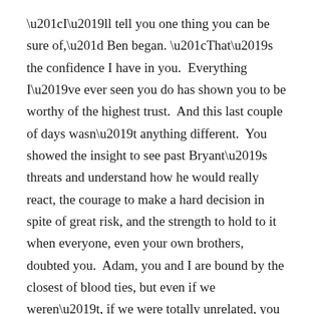“I’ll tell you one thing you can be sure of,” Ben began. “That’s the confidence I have in you.  Everything I’ve ever seen you do has shown you to be worthy of the highest trust.  And this last couple of days wasn’t anything different.  You showed the insight to see past Bryant’s threats and understand how he would really react, the courage to make a hard decision in spite of great risk, and the strength to hold to it when everyone, even your own brothers, doubted you.  Adam, you and I are bound by the closest of blood ties, but even if we weren’t, if we were totally unrelated, you are still a man that I would seek out for a friend.  And you know I do not say that lightly.”
Ben watched anxiously for Adam’s reaction.  He could